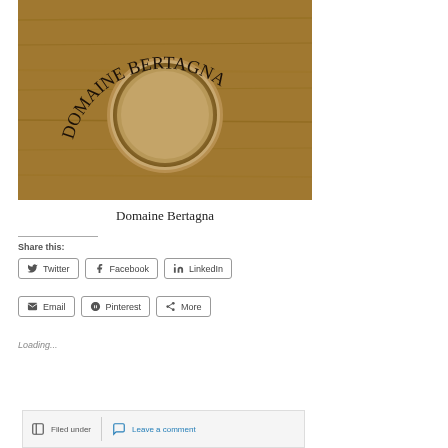[Figure (photo): A wooden wine barrel or crate end with 'DOMAINE BERTAGNA' carved/burned in an arc around a circular hole in the wood grain surface.]
Domaine Bertagna
Share this:
Twitter  Facebook  LinkedIn  Email  Pinterest  More
Loading...
Filed under   Leave a comment